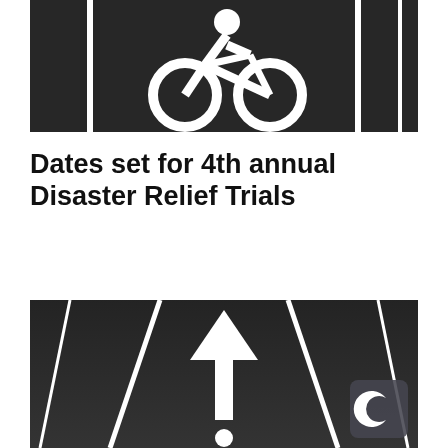[Figure (photo): Aerial/close-up view of dark asphalt road surface showing a white painted bicycle lane symbol (cyclist icon) with lane divider lines on either side]
Dates set for 4th annual Disaster Relief Trials
[Figure (photo): Close-up view of dark asphalt road surface showing white painted lane markings including an upward-pointing arrow and parallel lane divider lines, with a dark mode/night mode toggle icon in the bottom right corner]